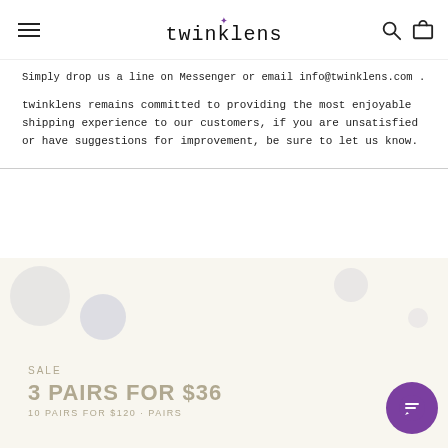twinklens
Simply drop us a line on Messenger or email info@twinklens.com .
twinklens remains committed to providing the most enjoyable shipping experience to our customers, if you are unsatisfied or have suggestions for improvement, be sure to let us know.
[Figure (infographic): Promotional banner with decorative circles and text reading '3 PAIRS FOR $36' with a purple chat button overlay in the bottom right corner.]